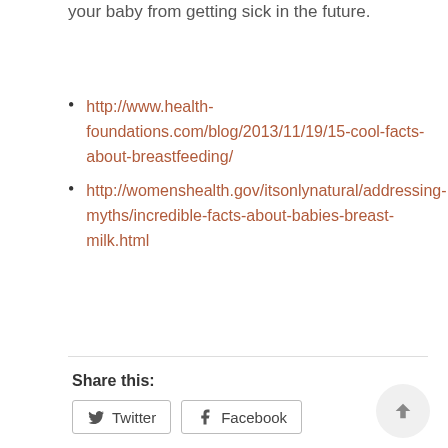your baby from getting sick in the future.
http://www.health-foundations.com/blog/2013/11/19/15-cool-facts-about-breastfeeding/
http://womenshealth.gov/itsonlynatural/addressing-myths/incredible-facts-about-babies-breast-milk.html
Share this:
Twitter  Facebook